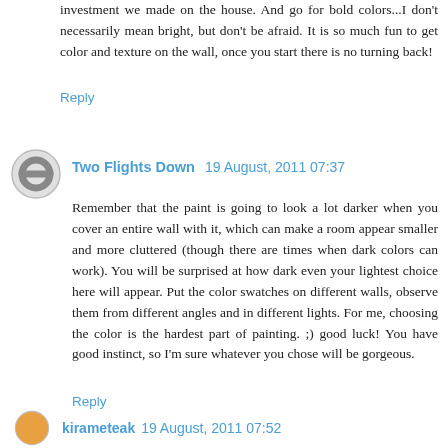investment we made on the house. And go for bold colors...I don't necessarily mean bright, but don't be afraid. It is so much fun to get color and texture on the wall, once you start there is no turning back!
Reply
Two Flights Down  19 August, 2011 07:37
Remember that the paint is going to look a lot darker when you cover an entire wall with it, which can make a room appear smaller and more cluttered (though there are times when dark colors can work). You will be surprised at how dark even your lightest choice here will appear. Put the color swatches on different walls, observe them from different angles and in different lights. For me, choosing the color is the hardest part of painting. ;) good luck! You have good instinct, so I'm sure whatever you chose will be gorgeous.
Reply
kirameteak  19 August, 2011 07:52